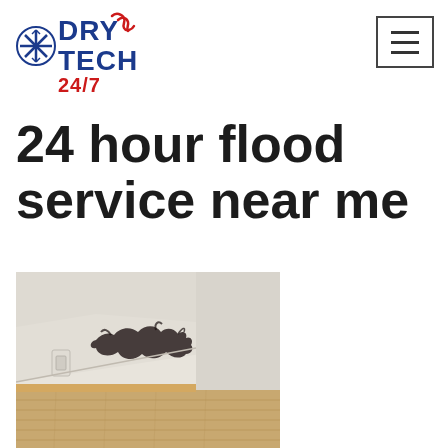DRY TECH 24/7 logo and navigation
24 hour flood service near me
[Figure (photo): Interior room photo showing mold damage on white wall near ceiling corner, with light wood paneling/flooring visible in lower portion]